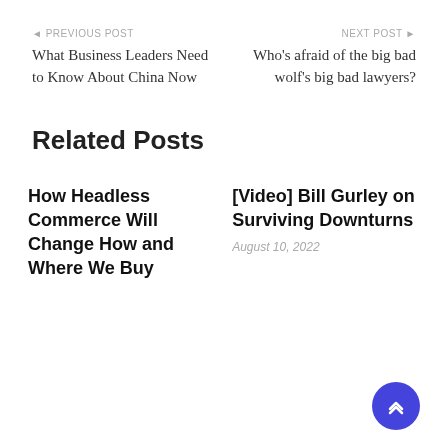◄ PREVIOUS POST
What Business Leaders Need to Know About China Now
NEXT POST ►
Who's afraid of the big bad wolf's big bad lawyers?
Related Posts
How Headless Commerce Will Change How and Where We Buy
[Video] Bill Gurley on Surviving Downturns
August 10, 2022